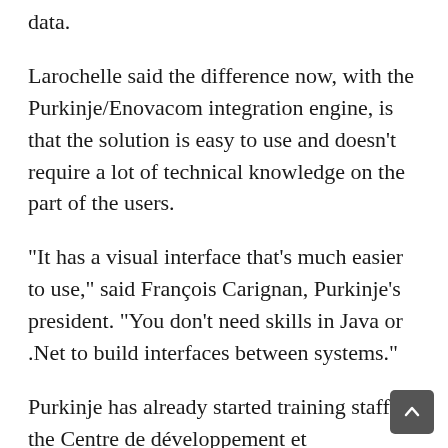data.
Larochelle said the difference now, with the Purkinje/Enovacom integration engine, is that the solution is easy to use and doesn’t require a lot of technical knowledge on the part of the users.
“It has a visual interface that’s much easier to use,” said François Carignan, Purkinje’s president. “You don’t need skills in Java or .Net to build interfaces between systems.”
Purkinje has already started training staff at the Centre de développement et d’opérationnalisation (CDO), the agency that will assist in rolling out the provincial acute care electronic medical record, called Cristal-Net.